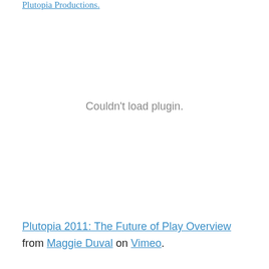Plutopia Productions.
[Figure (other): Embedded video plugin area showing 'Couldn't load plugin.' message in gray text on white background]
Plutopia 2011: The Future of Play Overview from Maggie Duval on Vimeo.